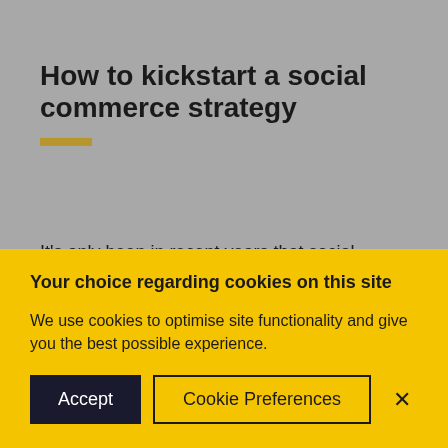How to kickstart a social commerce strategy
It's only been in recent years that social commerce has gained popularity as it can be a fairly daunting
Your choice regarding cookies on this site
We use cookies to optimise site functionality and give you the best possible experience.
Accept | Cookie Preferences | ×